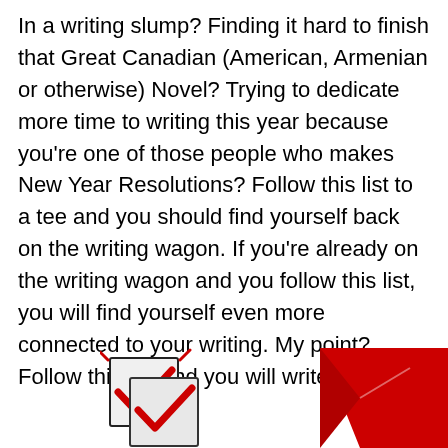In a writing slump? Finding it hard to finish that Great Canadian (American, Armenian or otherwise) Novel? Trying to dedicate more time to writing this year because you're one of those people who makes New Year Resolutions? Follow this list to a tee and you should find yourself back on the writing wagon. If you're already on the writing wagon and you follow this list, you will find yourself even more connected to your writing. My point? Follow this list and you will write more.
[Figure (illustration): Partial view of illustrated checkboxes and a red pencil/pen graphic at the bottom of the page]